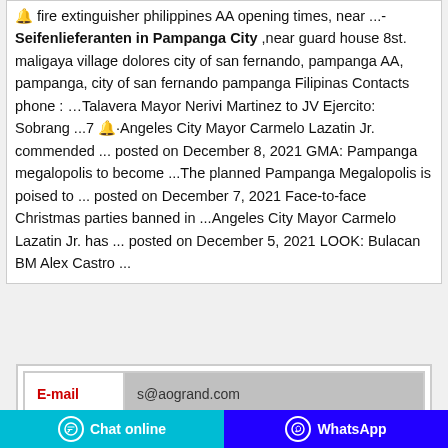🔔 fire extinguisher philippines AA opening times, near ...- Seifenlieferanten in Pampanga City ,near guard house 8st. maligaya village dolores city of san fernando, pampanga AA, pampanga, city of san fernando pampanga Filipinas Contacts phone : …Talavera Mayor Nerivi Martinez to JV Ejercito: Sobrang ...7 🔔·Angeles City Mayor Carmelo Lazatin Jr. commended ... posted on December 8, 2021 GMA: Pampanga megalopolis to become ...The planned Pampanga Megalopolis is poised to ... posted on December 7, 2021 Face-to-face Christmas parties banned in ...Angeles City Mayor Carmelo Lazatin Jr. has ... posted on December 5, 2021 LOOK: Bulacan BM Alex Castro ...
| E-mail | s@aogrand.com |
| --- | --- |
Chat online
WhatsApp